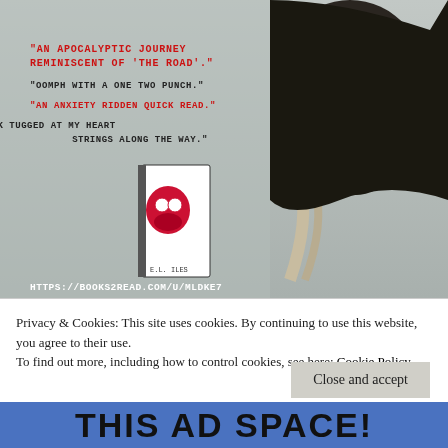[Figure (illustration): Book advertisement for 'Six Days to Hell' showing a person in a gas mask against an apocalyptic backdrop, with review quotes and the book cover displayed]
Privacy & Cookies: This site uses cookies. By continuing to use this website, you agree to their use.
To find out more, including how to control cookies, see here: Cookie Policy
Close and accept
THIS AD SPACE!